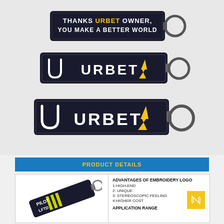[Figure (photo): Three black embroidered keychains with URBET branding. Top keychain reads 'THANKS URBET OWNER, YOU MAKE A BETTER WORLD' in white and yellow text. Middle and bottom keychains show the URBET logo with a lightning bolt in yellow on dark background, with metal key rings.]
PRODUCT DETAILS
[Figure (photo): A keychain tag with PILOT LFTD branding showing yellow stripe embroidery.]
ADVANTAGES OF EMBROIDERY LOGO
1:HIGH-END
2: UNIQUE
3: STEREOSCOPIC FEELING
4:HIGHER COST

APPLICATION RANGE